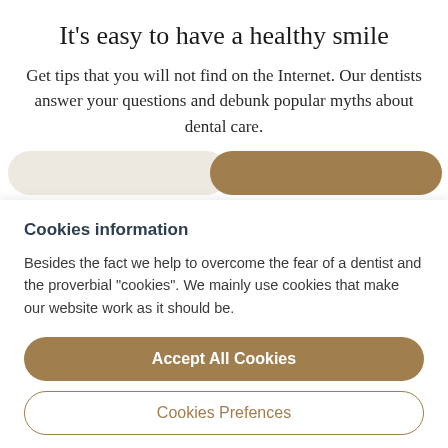It's easy to have a healthy smile
Get tips that you will not find on the Internet. Our dentists answer your questions and debunk popular myths about dental care.
Cookies information
Besides the fact we help to overcome the fear of a dentist and the proverbial "cookies". We mainly use cookies that make our website work as it should be.
Accept All Cookies
Cookies Prefences